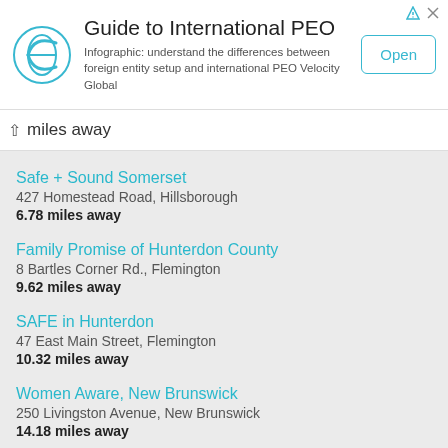[Figure (infographic): Advertisement banner for Guide to International PEO by Velocity Global. Contains a teal circular logo, title text, description, and an Open button.]
miles away
Safe + Sound Somerset
427 Homestead Road, Hillsborough
6.78 miles away
Family Promise of Hunterdon County
8 Bartles Corner Rd., Flemington
9.62 miles away
SAFE in Hunterdon
47 East Main Street, Flemington
10.32 miles away
Women Aware, New Brunswick
250 Livingston Avenue, New Brunswick
14.18 miles away